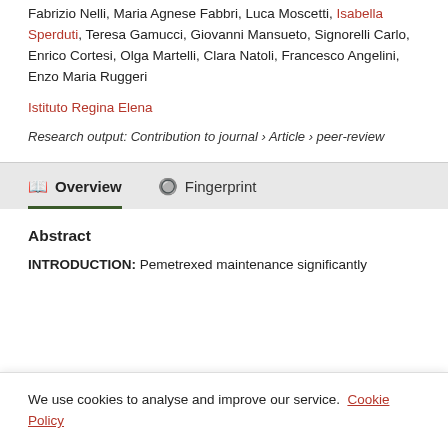Fabrizio Nelli, Maria Agnese Fabbri, Luca Moscetti, Isabella Sperduti, Teresa Gamucci, Giovanni Mansueto, Signorelli Carlo, Enrico Cortesi, Olga Martelli, Clara Natoli, Francesco Angelini, Enzo Maria Ruggeri
Istituto Regina Elena
Research output: Contribution to journal › Article › peer-review
Overview | Fingerprint (navigation tabs)
Abstract
INTRODUCTION: Pemetrexed maintenance significantly
We use cookies to analyse and improve our service. Cookie Policy